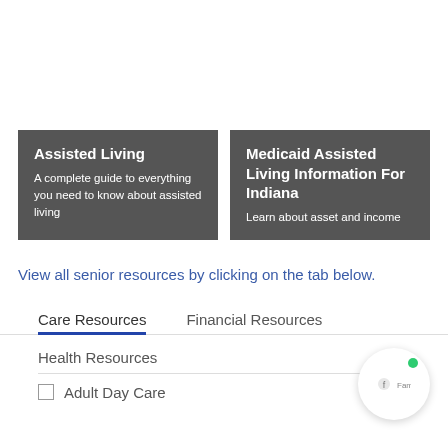[Figure (other): Card with dark gray background: 'Assisted Living' title and description 'A complete guide to everything you need to know about assisted living']
[Figure (other): Card with dark gray background: 'Medicaid Assisted Living Information For Indiana' title and description 'Learn about asset and income']
View all senior resources by clicking on the tab below.
Care Resources
Financial Resources
Health Resources
Adult Day Care